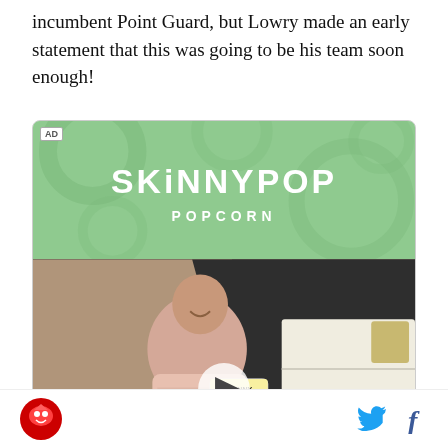incumbent Point Guard, but Lowry made an early statement that this was going to be his team soon enough!
[Figure (photo): SkinnyPop Popcorn advertisement. Top section with green background showing 'SKINNYPOP POPCORN' logo text in white. Bottom section shows a man in a pink tie-dye sweatshirt holding a SkinnyPop Popcorn bag, standing near a staircase and white shelving unit. A video play button is overlaid in the center. 'AD' label in top-left corner.]
Logo icon and social media icons (Twitter, Facebook)